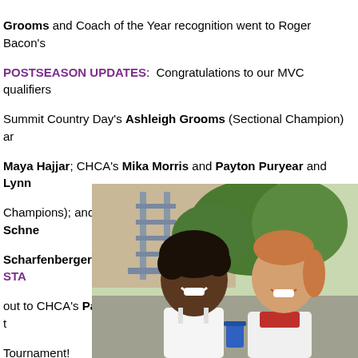Grooms and Coach of the Year recognition went to Roger Bacon's POSTSEASON UPDATES: Congratulations to our MVC qualifiers Summit Country Day's Ashleigh Grooms (Sectional Champion) and Maya Hajjar; CHCA's Mika Morris and Payton Puryear and Lynn Champions); and Seven Hills' Sohana Thompson, Sydney Schne Scharfenberger, and Wendy Woffington and Shriya Sekar. STA out to CHCA's Payton Puryear and Lynn Kader for advancing to the Tournament!
[Figure (photo): Two young women smiling together outdoors, wearing athletic attire (white tank tops). Background shows a building with a metal staircase/ladder and green trees.]